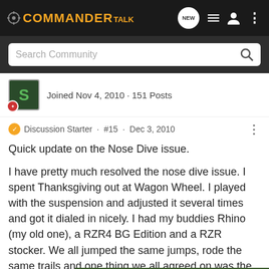COMMANDER TALK
Search Community
Joined Nov 4, 2010 · 151 Posts
Discussion Starter · #15 · Dec 3, 2010
Quick update on the Nose Dive issue.
I have pretty much resolved the nose dive issue. I spent Thanksgiving out at Wagon Wheel. I played with the suspension and adjusted it several times and got it dialed in nicely. I had my buddies Rhino (my old one), a RZR4 BG Edition and a RZR stocker. We all jumped the same jumps, rode the same trails and one thing we all agreed on was the short hop jumps cause UTVs to nose dive. Even the RZR4 was diving a[...] er adjustin[...] well
[Figure (screenshot): Chevrolet Silverado 2022 advertisement banner partially overlapping the post text]